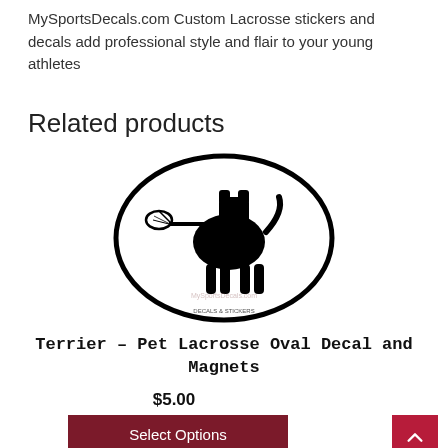MySportsDecals.com Custom Lacrosse stickers and decals add professional style and flair to your young athletes
Related products
[Figure (photo): Oval sticker/decal featuring a black silhouette of a Terrier dog holding a lacrosse stick, with a thin black oval border and watermark text.]
Terrier – Pet Lacrosse Oval Decal and Magnets
$5.00
Select Options